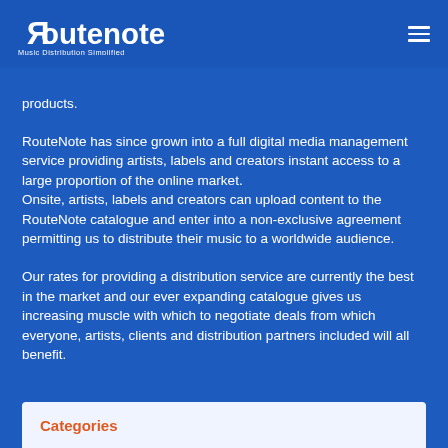RouteNote — Music Distribution Simplified (logo + hamburger menu)
products.
RouteNote has since grown into a full digital media management service providing artists, labels and creators instant access to a large proportion of the online market.
Onsite, artists, labels and creators can upload content to the RouteNote catalogue and enter into a non-exclusive agreement permitting us to distribute their music to a worldwide audience.
Our rates for providing a distribution service are currently the best in the market and our ever expanding catalogue gives us increasing muscle with which to negotiate deals from which everyone, artists, clients and distribution partners included will all benefit.
Categories